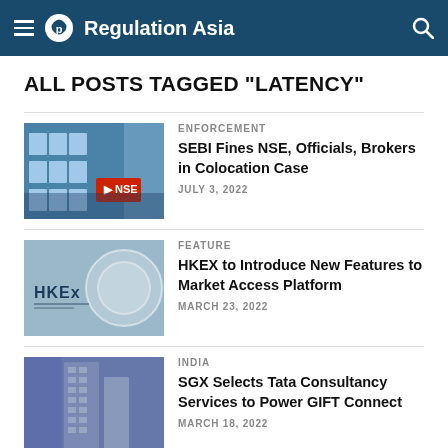Regulation Asia
ALL POSTS TAGGED "LATENCY"
[Figure (photo): NSE building exterior with blue glass facade and NSE logo]
ENFORCEMENT
SEBI Fines NSE, Officials, Brokers in Colocation Case
JULY 3, 2022
[Figure (photo): HKEX logo and circular design elements]
FEATURE
HKEX to Introduce New Features to Market Access Platform
MARCH 23, 2022
[Figure (photo): Modern high-rise building exterior]
INDIA
SGX Selects Tata Consultancy Services to Power GIFT Connect
MARCH 18, 2022